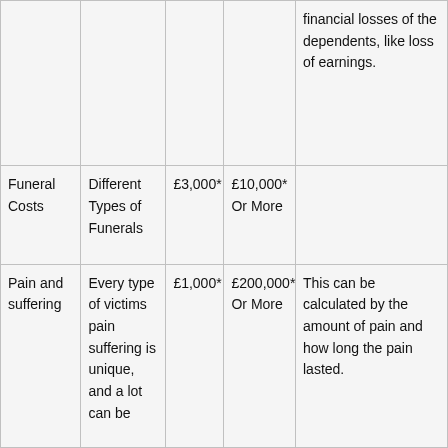|  |  |  |  | financial losses of the dependents, like loss of earnings. |
| Funeral Costs | Different Types of Funerals | £3,000* | £10,000* Or More |  |
| Pain and suffering | Every type of victims pain suffering is unique, and a lot can be | £1,000* | £200,000* Or More | This can be calculated by the amount of pain and how long the pain lasted. |